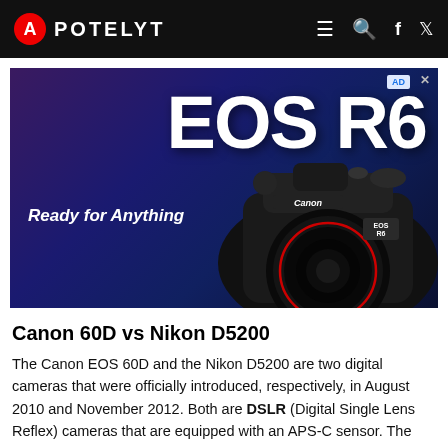APOTELYT
[Figure (photo): Canon EOS R6 advertisement banner. Dark blue/purple gradient background. Large white text 'EOS R6' in top right. White italic text 'Ready for Anything' on left. Canon EOS R6 camera shown on right side. 'AD' badge in top right corner.]
Canon 60D vs Nikon D5200
The Canon EOS 60D and the Nikon D5200 are two digital cameras that were officially introduced, respectively, in August 2010 and November 2012. Both are DSLR (Digital Single Lens Reflex) cameras that are equipped with an APS-C sensor. The Canon has a resolution of 17.9 megapixels, whereas the Nikon provides 24 MP...